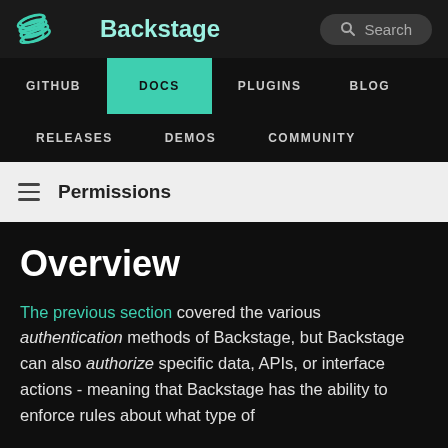Backstage
GITHUB  DOCS  PLUGINS  BLOG
RELEASES  DEMOS  COMMUNITY
Permissions
Overview
The previous section covered the various authentication methods of Backstage, but Backstage can also authorize specific data, APIs, or interface actions - meaning that Backstage has the ability to enforce rules about what type of